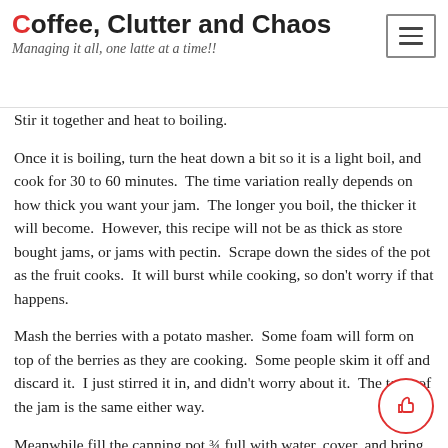Coffee, Clutter and Chaos — Managing it all, one latte at a time!!
Stir it together and heat to boiling.
Once it is boiling, turn the heat down a bit so it is a light boil, and cook for 30 to 60 minutes.  The time variation really depends on how thick you want your jam.  The longer you boil, the thicker it will become.  However, this recipe will not be as thick as store bought jams, or jams with pectin.  Scrape down the sides of the pot as the fruit cooks.  It will burst while cooking, so don't worry if that happens.
Mash the berries with a potato masher.  Some foam will form on top of the berries as they are cooking.  Some people skim it off and discard it.  I just stirred it in, and didn't worry about it.  The taste of the jam is the same either way.
Meanwhile fill the canning pot ¾ full with water, cover, and bring to a boil over high heat. Be sure to wash all jar pieces in hot soapy water first.